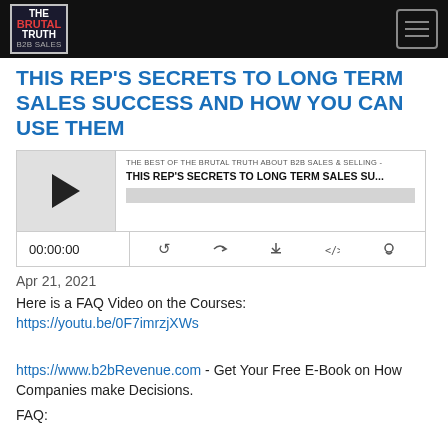THE BRUTAL TRUTH [navigation bar with logo and menu]
THIS REP'S SECRETS TO LONG TERM SALES SUCCESS AND HOW YOU CAN USE THEM
[Figure (other): Podcast audio player widget showing 'THE BEST OF THE BRUTAL TRUTH ABOUT B2B SALES & SELLING - THIS REP'S SECRETS TO LONG TERM SALES SU...' with play button, progress bar, time 00:00:00, and control icons.]
Apr 21, 2021
Here is a FAQ Video on the Courses:
https://youtu.be/0F7imrzjXWs
https://www.b2bRevenue.com - Get Your Free E-Book on How Companies make Decisions.
FAQ: